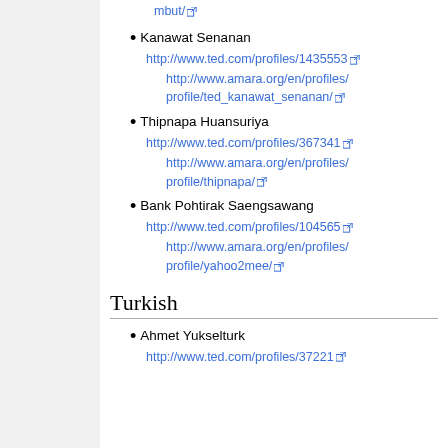mbut/ [link]
Kanawat Senanan
http://www.ted.com/profiles/1435533
http://www.amara.org/en/profiles/profile/ted_kanawat_senanan/
Thipnapa Huansuriya
http://www.ted.com/profiles/367341
http://www.amara.org/en/profiles/profile/thipnapa/
Bank Pohtirak Saengsawang
http://www.ted.com/profiles/104565
http://www.amara.org/en/profiles/profile/yahoo2mee/
Turkish
Ahmet Yukselturk
http://www.ted.com/profiles/37221